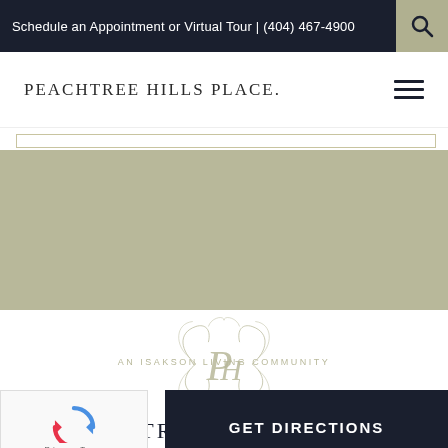Schedule an Appointment or Virtual Tour | (404) 467-4900
PEACHTREE HILLS PLACE.
[Figure (illustration): Sage/olive green decorative banner section with a thin bordered inner rectangle]
[Figure (logo): Peachtree Hills Place ornate monogram logo with intertwined PH letters in gold/olive color, with decorative swirls]
PEACHTREE HILLS PLACE.
AN ISAKSON LIVING COMMUNITY
[Figure (logo): reCAPTCHA widget with spinning arrows logo, showing Privacy - Terms text below]
GET DIRECTIONS